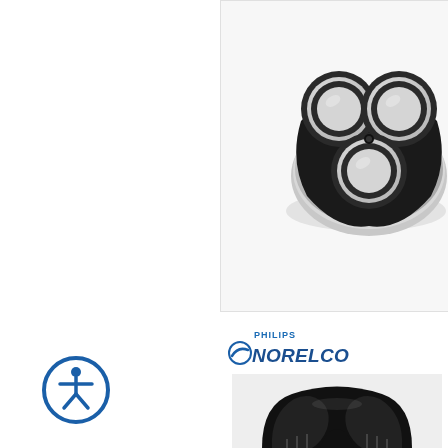[Figure (photo): Close-up photo of a Philips Norelco electric shaver head showing three circular rotary shaving rings in black and silver/chrome finish against a white background]
[Figure (logo): Philips Norelco brand logo with 'PHILIPS' in small blue bold caps above 'NORELCO' in larger italic blue bold text with a stylized curved swoosh icon]
[Figure (photo): Close-up photo of the bottom portion of a Philips Norelco electric shaver head showing black rotary shaving rings against a light background]
[Figure (illustration): Accessibility icon: circular dark blue border with a white human figure in a dynamic pose (universal accessibility symbol)]